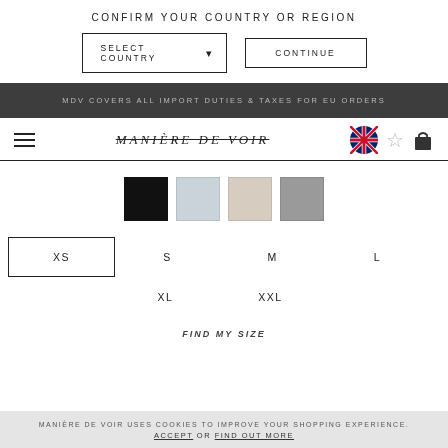CONFIRM YOUR COUNTRY OR REGION
SELECT COUNTRY
CONTINUE
MDV COVERS ALL IMPORT DUTIES & TAXES FOR EU ORDERS
[Figure (logo): MANIÈRE DE VOIR brand logo with strikethrough styling]
Color swatches: black, light blue, beige, gray
XS  S  M  L  XL  XXL
FIND MY SIZE
MANIÈRE DE VOIR USES COOKIES TO IMPROVE YOUR SHOPPING EXPERIENCE. ACCEPT OR FIND OUT MORE